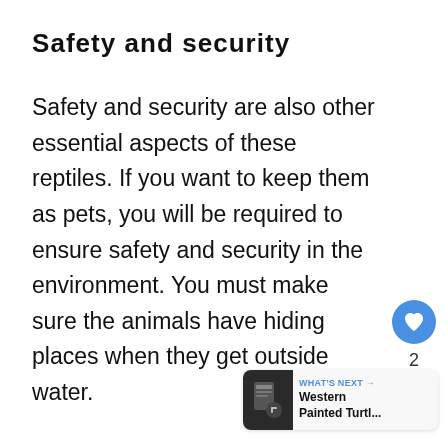Safety and security
Safety and security are also other essential aspects of these reptiles. If you want to keep them as pets, you will be required to ensure safety and security in the environment. You must make sure the animals have hiding places when they get outside water.